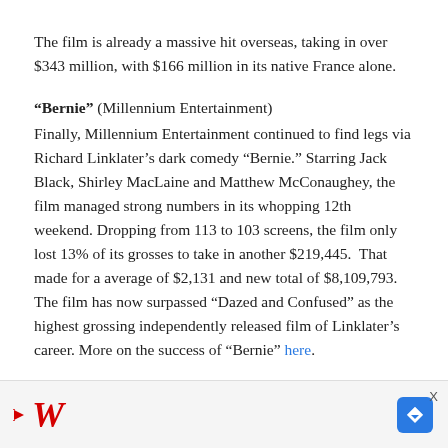The film is already a massive hit overseas, taking in over $343 million, with $166 million in its native France alone.
"Bernie" (Millennium Entertainment) Finally, Millennium Entertainment continued to find legs via Richard Linklater’s dark comedy “Bernie.” Starring Jack Black, Shirley MacLaine and Matthew McConaughey, the film managed strong numbers in its whopping 12th weekend. Dropping from 113 to 103 screens, the film only lost 13% of its grosses to take in another $219,445. That made for a average of $2,131 and new total of $8,109,793. The film has now surpassed “Dazed and Confused” as the highest grossing independently released film of Linklater’s career. More on the success of “Bernie” here.
[Figure (other): Advertisement banner with Walgreens logo (stylized red italic W) and navigation arrow icon, with close X button]